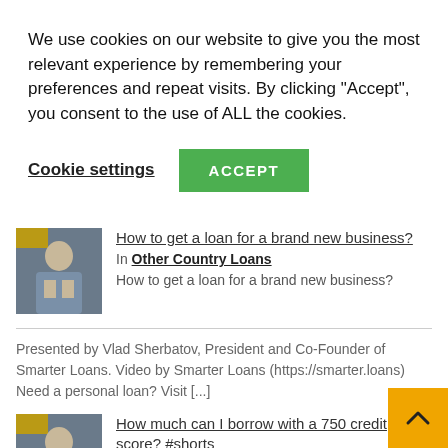We use cookies on our website to give you the most relevant experience by remembering your preferences and repeat visits. By clicking “Accept”, you consent to the use of ALL the cookies.
Cookie settings
ACCEPT
[Figure (photo): Thumbnail image of a man in business attire sitting at a desk]
How to get a loan for a brand new business?
In Other Country Loans
How to get a loan for a brand new business?
Presented by Vlad Sherbatov, President and Co-Founder of Smarter Loans. Video by Smarter Loans (https://smarter.loans) Need a personal loan? Visit [...]
[Figure (photo): Thumbnail image of a man in business attire]
How much can I borrow with a 750 credit score? #shorts
In Other Country Loans